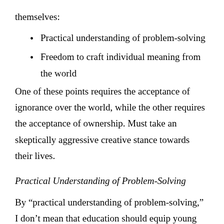themselves:
Practical understanding of problem-solving
Freedom to craft individual meaning from the world
One of these points requires the acceptance of ignorance over the world, while the other requires the acceptance of ownership. Must take an skeptically aggressive creative stance towards their lives.
Practical Understanding of Problem-Solving
By “practical understanding of problem-solving,” I don’t mean that education should equip young people with abstract “problem-solving skills” that test designers and liberal arts professors always applaud as the goal of their respective